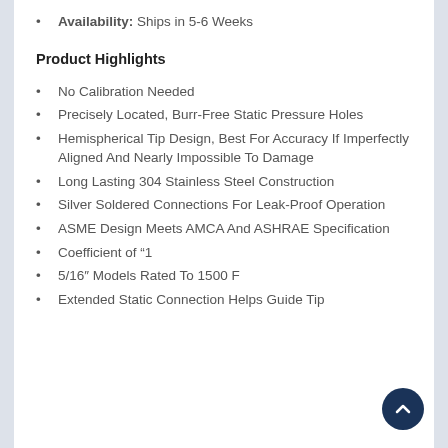Availability: Ships in 5-6 Weeks
Product Highlights
No Calibration Needed
Precisely Located, Burr-Free Static Pressure Holes
Hemispherical Tip Design, Best For Accuracy If Imperfectly Aligned And Nearly Impossible To Damage
Long Lasting 304 Stainless Steel Construction
Silver Soldered Connections For Leak-Proof Operation
ASME Design Meets AMCA And ASHRAE Specification
Coefficient of "1
5/16" Models Rated To 1500 F
Extended Static Connection Helps Guide Tip